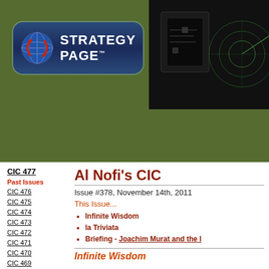[Figure (screenshot): Strategy Page website header with logo pill on olive green background and dark banner with radar/electronics imagery on right]
Home | News | Features | Photos
Search GO
CIC 477
Past Issues
CIC 476
CIC 475
CIC 474
CIC 473
CIC 472
CIC 471
CIC 470
CIC 469
CIC 468
CIC 467
Al Nofi's CIC
Issue #378, November 14th, 2011
This Issue...
Infinite Wisdom
la Triviata
Briefing - Joachim Murat and the I
Infinite Wisdom